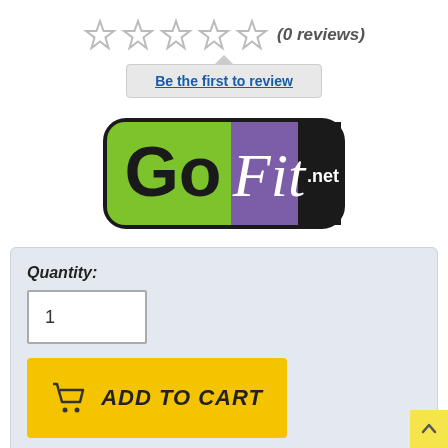★★★★★ (0 reviews)
Be the first to review
[Figure (logo): GoFit.net logo — green and purple rounded rectangle badge with 'Go' in black on green background and 'Fit' in white italic on purple, with '.net' on black tab at right]
Quantity:
1
ADD TO CART
+ Add to Wishlist
Share: